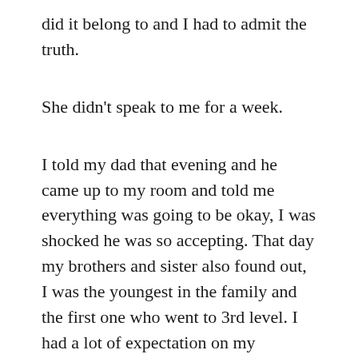did it belong to and I had to admit the truth.
She didn't speak to me for a week.
I told my dad that evening and he came up to my room and told me everything was going to be okay, I was shocked he was so accepting. That day my brothers and sister also found out, I was the youngest in the family and the first one who went to 3rd level. I had a lot of expectation on my shoulders.
How others treated me...